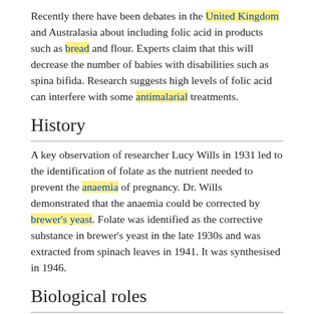Recently there have been debates in the United Kingdom and Australasia about including folic acid in products such as bread and flour. Experts claim that this will decrease the number of babies with disabilities such as spina bifida. Research suggests high levels of folic acid can interfere with some antimalarial treatments.
History
A key observation of researcher Lucy Wills in 1931 led to the identification of folate as the nutrient needed to prevent the anaemia of pregnancy. Dr. Wills demonstrated that the anaemia could be corrected by brewer's yeast. Folate was identified as the corrective substance in brewer's yeast in the late 1930s and was extracted from spinach leaves in 1941. It was synthesised in 1946.
Biological roles
Folate is necessary for the production and maintenance of new cells. This is especially important during periods of rapid cell division and growth such as infancy and pregnancy. Folate is needed to replicate DNA. It also helps prevent changes to DNA that may lead to cancer. Thus folate deficiency hinders DNA synthesis and cell division, affecting most clinically the bone marrow, a site of rapid cell turnover. Because RNA and protein synthesis are not hindered, large red blood cells called megaloblasts are produced, resulting in megaloblastic anaemia. Both